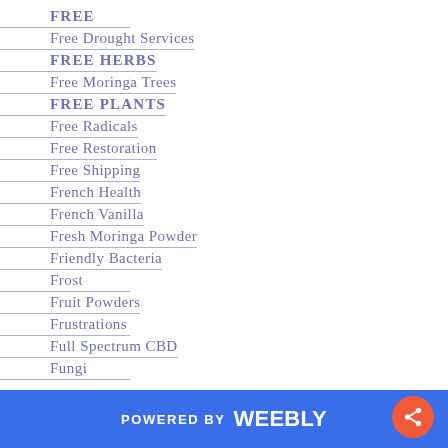FREE
Free Drought Services
FREE HERBS
Free Moringa Trees
FREE PLANTS
Free Radicals
Free Restoration
Free Shipping
French Health
French Vanilla
Fresh Moringa Powder
Friendly Bacteria
Frost
Fruit Powders
Frustrations
Full Spectrum CBD
Fungi
POWERED BY weebly